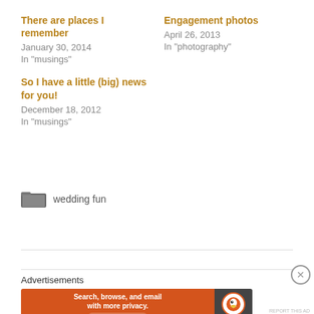There are places I remember
January 30, 2014
In "musings"
Engagement photos
April 26, 2013
In "photography"
So I have a little (big) news for you!
December 18, 2012
In "musings"
wedding fun
Advertisements
[Figure (screenshot): DuckDuckGo advertisement banner: 'Search, browse, and email with more privacy. All in One Free App' with DuckDuckGo logo on dark background]